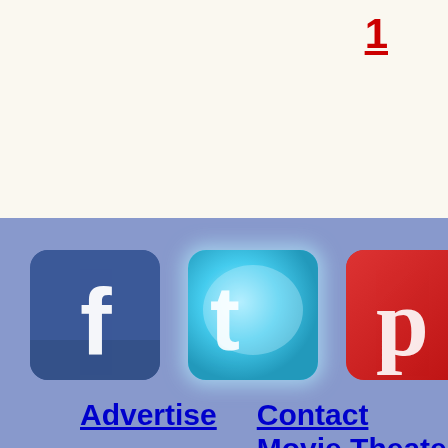1
[Figure (screenshot): Social media icons: Facebook (blue with white 'f'), Twitter (cyan/light blue with white bird), Pinterest (red with white 'p'), and a partially visible dark icon on the right edge.]
Advertise   Contact Movie Theater
Classic Movie Hub. Copy[right...]